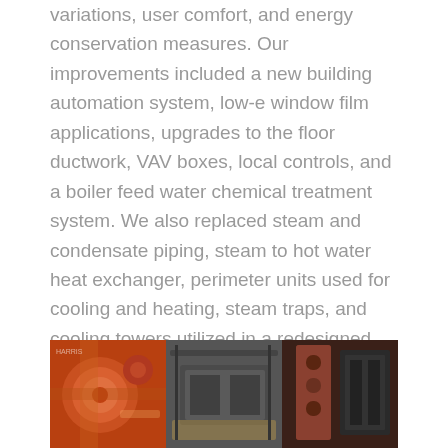variations, user comfort, and energy conservation measures. Our improvements included a new building automation system, low-e window film applications, upgrades to the floor ductwork, VAV boxes, local controls, and a boiler feed water chemical treatment system. We also replaced steam and condensate piping, steam to hot water heat exchanger, perimeter units used for cooling and heating, steam traps, and cooling towers utilized in a redesigned chiller plant. For this project, we couldn't simply take the building offline to complete upgrades or improvements. We were able to bring the building up to code, design and install the equipment in a sub cellar, while minimally affecting occupants through temporary system connections or phased design and construction.
[Figure (photo): Close-up photos of mechanical/piping equipment components, including orange-colored pipes and fittings and dark metallic machinery components]